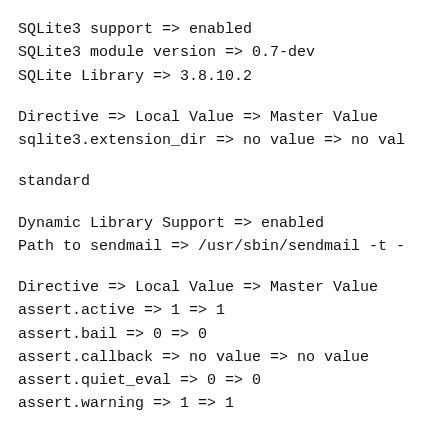SQLite3 support => enabled
SQLite3 module version => 0.7-dev
SQLite Library => 3.8.10.2
Directive => Local Value => Master Value
sqlite3.extension_dir => no value => no val
standard
Dynamic Library Support => enabled
Path to sendmail => /usr/sbin/sendmail -t -
Directive => Local Value => Master Value
assert.active => 1 => 1
assert.bail => 0 => 0
assert.callback => no value => no value
assert.quiet_eval => 0 => 0
assert.warning => 1 => 1